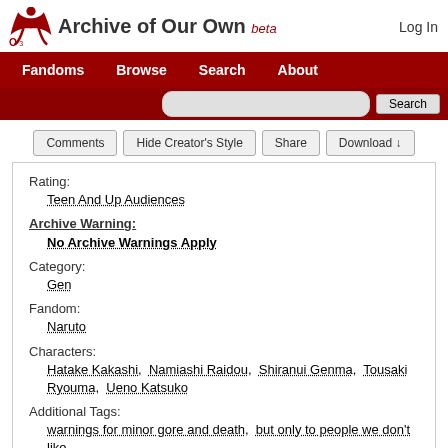Archive of Our Own beta — Log In
Fandoms Browse Search About
Comments | Hide Creator's Style | Share | Download ↓
Rating:
Teen And Up Audiences
Archive Warning:
No Archive Warnings Apply
Category:
Gen
Fandom:
Naruto
Characters:
Hatake Kakashi, Namiashi Raidou, Shiranui Genma, Tousaki Ryouma, Ueno Katsuko
Additional Tags:
warnings for minor gore and death, but only to people we don't like
Language: